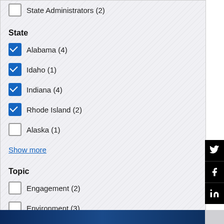State Administrators (2)
State
Alabama (4) [checked]
Idaho (1) [checked]
Indiana (4) [checked]
Rhode Island (2) [checked]
Alaska (1) [unchecked]
Show more
Topic
Engagement (2) [unchecked]
Environment (3) [unchecked]
Safety (2) [unchecked]